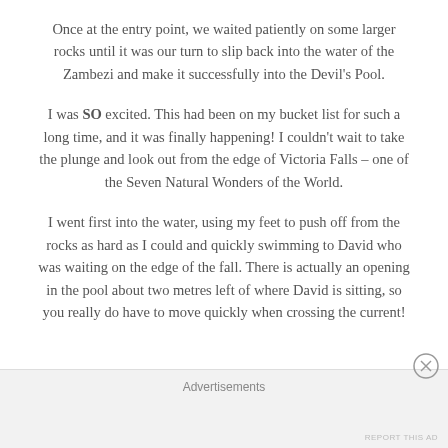Once at the entry point, we waited patiently on some larger rocks until it was our turn to slip back into the water of the Zambezi and make it successfully into the Devil's Pool.
I was SO excited. This had been on my bucket list for such a long time, and it was finally happening! I couldn't wait to take the plunge and look out from the edge of Victoria Falls – one of the Seven Natural Wonders of the World.
I went first into the water, using my feet to push off from the rocks as hard as I could and quickly swimming to David who was waiting on the edge of the fall. There is actually an opening in the pool about two metres left of where David is sitting, so you really do have to move quickly when crossing the current!
Advertisements